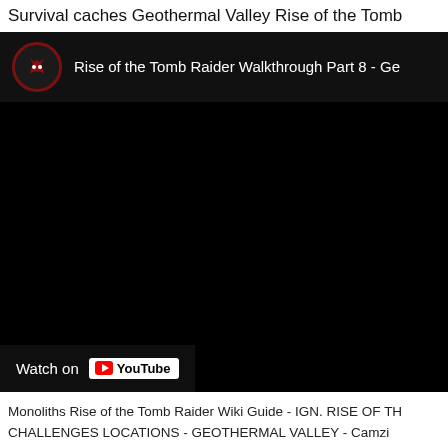Survival caches Geothermal Valley Rise of the Tomb
[Figure (screenshot): YouTube video embed showing 'Rise of the Tomb Raider Walkthrough Part 8 - Ge...' with a black video frame and a 'Watch on YouTube' button overlay at the bottom left. The video has a channel icon (dark circular icon with red border) on the left of the title bar.]
Monoliths Rise of the Tomb Raider Wiki Guide - IGN. RISE OF TH... CHALLENGES LOCATIONS - GEOTHERMAL VALLEY - Camzi...